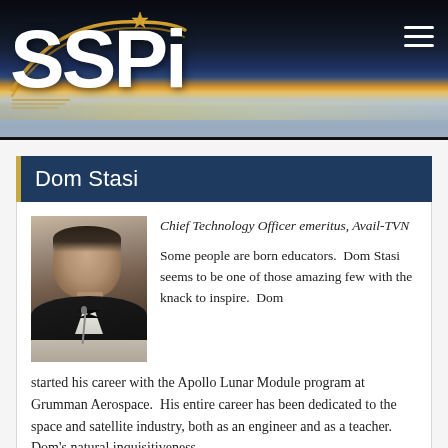[Figure (logo): SSPI logo and website header banner with space/Earth background image, golden arc swoop above 'SSPI' text in white, hamburger menu icon top right]
Dom Stasi
[Figure (photo): Headshot of Dom Stasi, a man in a dark suit at what appears to be a podium or lectern]
Chief Technology Officer emeritus, Avail-TVN
Some people are born educators.  Dom Stasi seems to be one of those amazing few with the knack to inspire.  Dom started his career with the Apollo Lunar Module program at Grumman Aerospace.  His entire career has been dedicated to the space and satellite industry, both as an engineer and as a teacher.  Dom's natural inquisitiveness